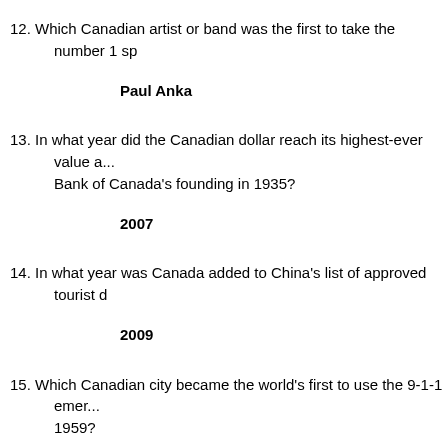12. Which Canadian artist or band was the first to take the number 1 sp...
Paul Anka
13. In what year did the Canadian dollar reach its highest-ever value a... Bank of Canada's founding in 1935?
2007
14. In what year was Canada added to China's list of approved tourist d...
2009
15. Which Canadian city became the world's first to use the 9-1-1 emer... 1959?
Winnipeg
16. Which former Quebec premier would allegedly buy votes using wh...